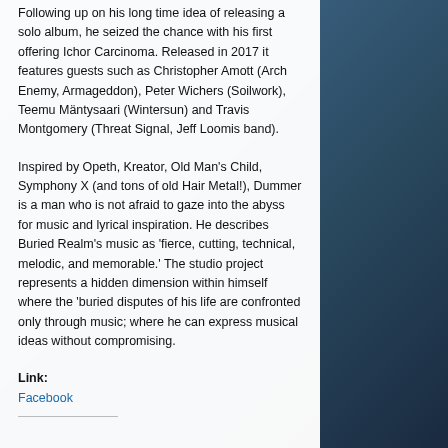Following up on his long time idea of releasing a solo album, he seized the chance with his first offering Ichor Carcinoma. Released in 2017 it features guests such as Christopher Amott (Arch Enemy, Armageddon), Peter Wichers (Soilwork), Teemu Mäntysaari (Wintersun) and Travis Montgomery (Threat Signal, Jeff Loomis band).
Inspired by Opeth, Kreator, Old Man's Child, Symphony X (and tons of old Hair Metal!), Dummer is a man who is not afraid to gaze into the abyss for music and lyrical inspiration. He describes Buried Realm's music as 'fierce, cutting, technical, melodic, and memorable.' The studio project represents a hidden dimension within himself where the 'buried disputes of his life are confronted only through music; where he can express musical ideas without compromising.
Link: Facebook